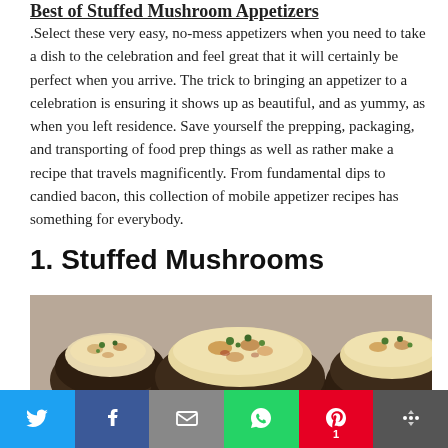Best of Stuffed Mushroom Appetizers
.Select these very easy, no-mess appetizers when you need to take a dish to the celebration and feel great that it will certainly be perfect when you arrive. The trick to bringing an appetizer to a celebration is ensuring it shows up as beautiful, and as yummy, as when you left residence. Save yourself the prepping, packaging, and transporting of food prep things as well as rather make a recipe that travels magnificently. From fundamental dips to candied bacon, this collection of mobile appetizer recipes has something for everybody.
1. Stuffed Mushrooms
[Figure (photo): Close-up photo of several stuffed mushrooms with golden cheesy filling and green herb garnish on a light background]
Social sharing bar: Twitter, Facebook, Email, WhatsApp, Pinterest (1), More